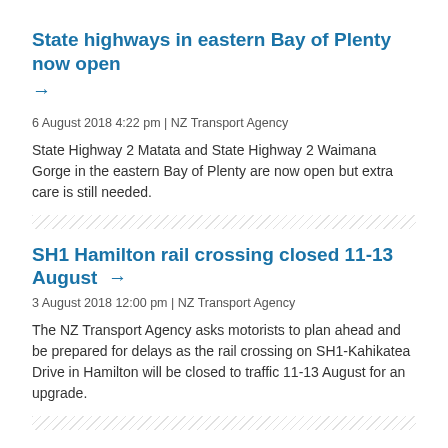State highways in eastern Bay of Plenty now open →
6 August 2018 4:22 pm | NZ Transport Agency
State Highway 2 Matata and State Highway 2 Waimana Gorge in the eastern Bay of Plenty are now open but extra care is still needed.
SH1 Hamilton rail crossing closed 11-13 August →
3 August 2018 12:00 pm | NZ Transport Agency
The NZ Transport Agency asks motorists to plan ahead and be prepared for delays as the rail crossing on SH1-Kahikatea Drive in Hamilton will be closed to traffic 11-13 August for an upgrade.